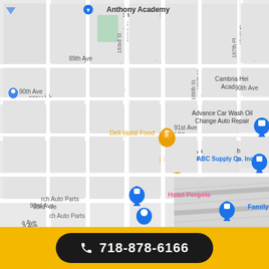[Figure (map): Google Maps screenshot showing streets in Cambria Heights / Jamaica area of Queens, NY. Streets visible include 89th Ave, 90th Ave, 91st Ave, 93rd Ave, 183rd St, 186th St, 187th Pl. Landmarks labeled: Anthony Academy, Cambria Heights Academy, Deli Halal Food, Advance Car Wash Oil Change Auto Repair, Girasoles Mexican Cuisine, ABC Supply Co. Inc, Hotel Pergola, Family Dollar, Gibraltar Self Storage, Church Auto Parts. Map pins in orange, blue, and pink.]
718-878-6166